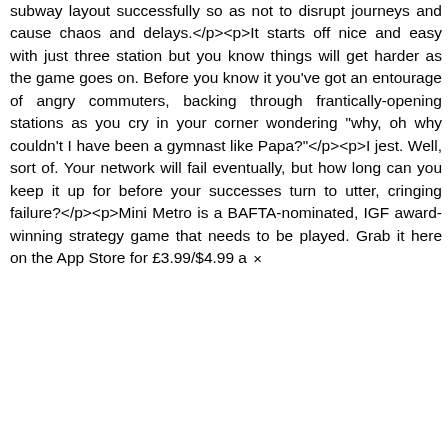subway layout successfully so as not to disrupt journeys and cause chaos and delays.</p><p>It starts off nice and easy with just three station but you know things will get harder as the game goes on. Before you know it you've got an entourage of angry commuters, backing through frantically-opening stations as you cry in your corner wondering "why, oh why couldn't I have been a gymnast like Papa?"</p><p>I jest. Well, sort of. Your network will fail eventually, but how long can you keep it up for before your successes turn to utter, cringing failure?</p><p>Mini Metro is a BAFTA-nominated, IGF award-winning strategy game that needs to be played. Grab it here on the App Store for £3.99/$4.99 a ×